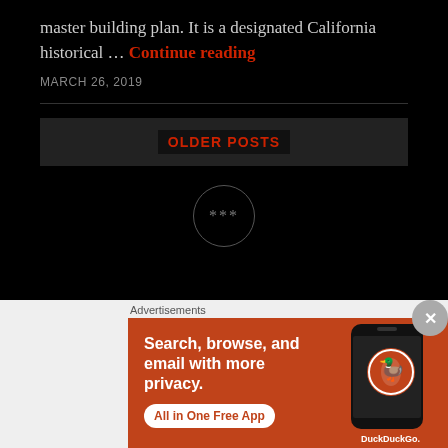master building plan. It is a designated California historical … Continue reading
MARCH 26, 2019
OLDER POSTS
[Figure (other): Circular button with ellipsis (three dots) on dark background]
[Figure (screenshot): DuckDuckGo advertisement banner: 'Search, browse, and email with more privacy. All in One Free App' with DuckDuckGo logo and phone graphic on orange/red background]
Advertisements